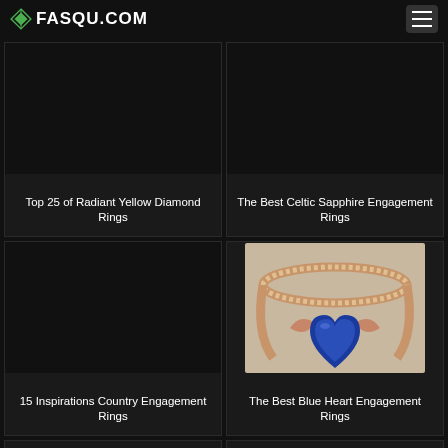FASQU.COM
[Figure (illustration): Card with dark background - Top 25 of Radiant Yellow Diamond Rings]
Top 25 of Radiant Yellow Diamond Rings
[Figure (illustration): Card with dark background - The Best Celtic Sapphire Engagement Rings]
The Best Celtic Sapphire Engagement Rings
[Figure (illustration): Card with dark background - 15 Inspirations Country Engagement Rings]
15 Inspirations Country Engagement Rings
[Figure (photo): Photo of a blue heart sapphire ring with rose gold and diamond band - The Best Blue Heart Engagement Rings]
The Best Blue Heart Engagement Rings